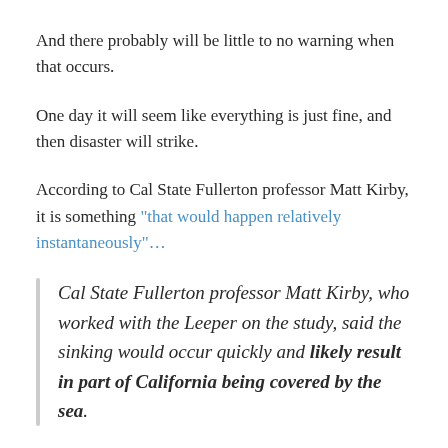And there probably will be little to no warning when that occurs.
One day it will seem like everything is just fine, and then disaster will strike.
According to Cal State Fullerton professor Matt Kirby, it is something “that would happen relatively instantaneously”…
Cal State Fullerton professor Matt Kirby, who worked with the Leeper on the study, said the sinking would occur quickly and likely result in part of California being covered by the sea.